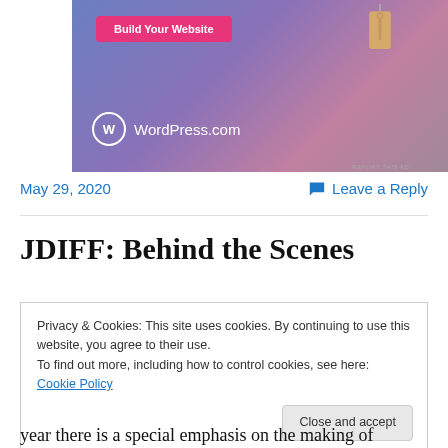[Figure (illustration): WordPress.com advertisement banner with purple-blue gradient background, pink 'Build Your Website' button, a hanging tag illustration, and WordPress.com logo in white]
REPORT THIS AD
May 29, 2020
Leave a Reply
JDIFF: Behind the Scenes
Privacy & Cookies: This site uses cookies. By continuing to use this website, you agree to their use.
To find out more, including how to control cookies, see here: Cookie Policy
Close and accept
year there is a special emphasis on the making of